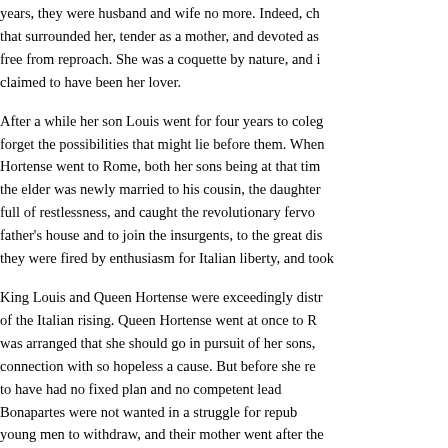years, they were husband and wife no more. Indeed, ch that surrounded her, tender as a mother, and devoted as free from reproach. She was a coquette by nature, and i claimed to have been her lover.
After a while her son Louis went for four years to coleg forget the possibilities that might lie before them. When Hortense went to Rome, both her sons being at that tim the elder was newly married to his cousin, the daughter full of restlessness, and caught the revolutionary fervo father's house and to join the insurgents, to the great dis they were fired by enthusiasm for Italian liberty, and took
King Louis and Queen Hortense were exceedingly distr of the Italian rising. Queen Hortense went at once to R was arranged that she should go in pursuit of her sons, connection with so hopeless a cause. But before she re to have had no fixed plan and no competent lead Bonapartes were not wanted in a struggle for repub young men to withdraw, and their mother went after the by her son Louis, who was coming to tell her that his bro mystery concerning the death of this young Napoleo sickened with the measles, and died at a roadside inn mother went into that little town upon the Adriatic with